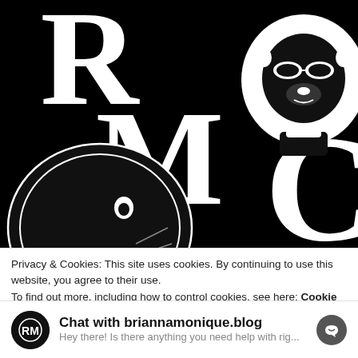[Figure (logo): Black background with large white serif letters R, M, C arranged with a stylized lion head illustration (wearing sunglasses) in the upper right, and an elephant head illustration in the lower left. Forms the RMCC logo for briannamonique.blog]
Privacy & Cookies: This site uses cookies. By continuing to use this website, you agree to their use.
To find out more, including how to control cookies, see here: Cookie Policy
Chat with briannamonique.blog
Hey there! Is there anything you need help with rig...